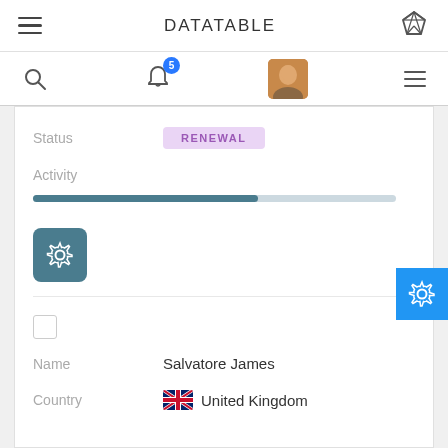DATATABLE
[Figure (screenshot): Mobile app UI with navigation bar showing hamburger menu, DATATABLE title, diamond icon, search, bell notification with badge 5, user avatar, and hamburger menu]
Status   RENEWAL
Activity
Name   Salvatore James
Country   United Kingdom